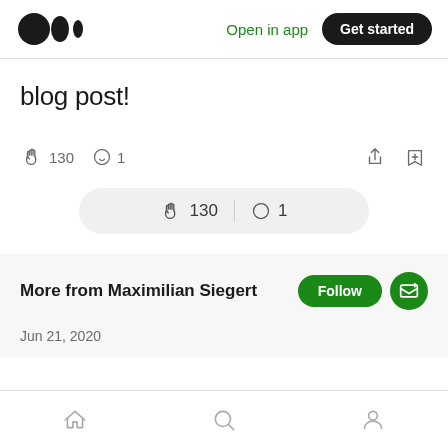Medium logo | Open in app | Get started
blog post!
130 claps  1 comment
[Figure (screenshot): Floating pill showing 130 claps and 1 comment]
More from Maximilian Siegert
Jun 21, 2020
Home | Search | Profile navigation icons